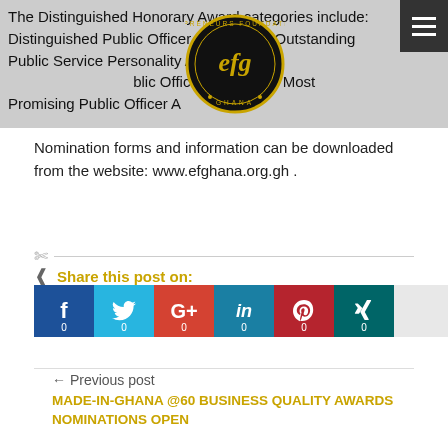The Distinguished Honorary Award categories include: Distinguished Public Officer of the Year, Outstanding Public Service Personality Award, Public Officer Award and Most Promising Public Officer Award.
[Figure (logo): Entrepreneurs Foundation of Ghana circular logo with 'efg' text in gold on black background]
Nomination forms and information can be downloaded from the website: www.efghana.org.gh .
Share this post on:
[Figure (infographic): Social share buttons for Facebook (0), Twitter (0), Google+ (0), LinkedIn (0), Pinterest (0), Xing (0)]
← Previous post
MADE-IN-GHANA @60 BUSINESS QUALITY AWARDS NOMINATIONS OPEN